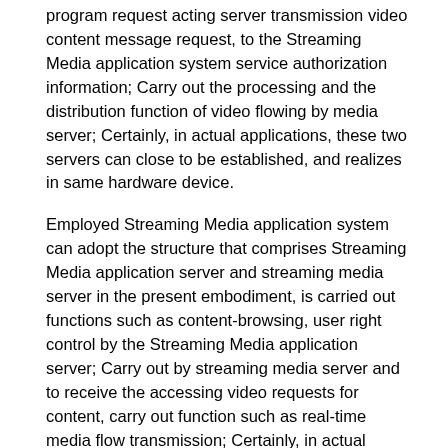program request acting server transmission video content message request, to the Streaming Media application system service authorization information; Carry out the processing and the distribution function of video flowing by media server; Certainly, in actual applications, these two servers can close to be established, and realizes in same hardware device.
Employed Streaming Media application system can adopt the structure that comprises Streaming Media application server and streaming media server in the present embodiment, is carried out functions such as content-browsing, user right control by the Streaming Media application server; Carry out by streaming media server and to receive the accessing video requests for content, carry out function such as real-time media flow transmission; Certainly, in actual applications, these two servers also can close to be established, and realizes in same hardware device.
Present embodiment sends video content by conference terminal to video conferencing system and inserts request, the control agent vod server obtains video flowing and